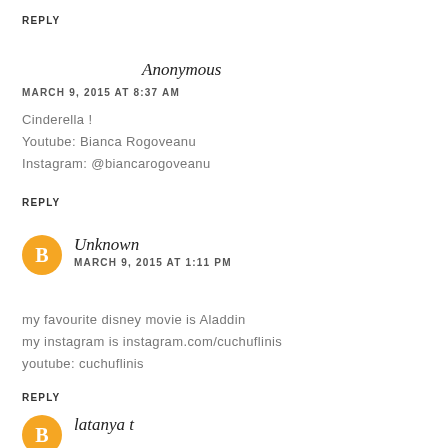REPLY
Anonymous
MARCH 9, 2015 AT 8:37 AM
Cinderella !
Youtube: Bianca Rogoveanu
Instagram: @biancarogoveanu
REPLY
Unknown
MARCH 9, 2015 AT 1:11 PM
my favourite disney movie is Aladdin
my instagram is instagram.com/cuchuflinis
youtube: cuchuflinis
REPLY
latanya t